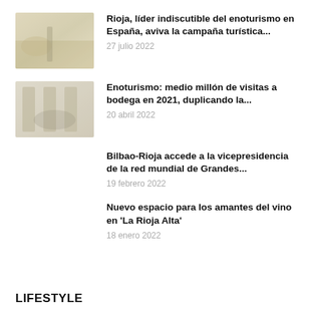[Figure (photo): Thumbnail image of vineyard landscape for Rioja tourism article]
Rioja, líder indiscutible del enoturismo en España, aviva la campaña turística...
27 julio 2022
[Figure (photo): Thumbnail image of wine cellar/bodega interior for enoturismo article]
Enoturismo: medio millón de visitas a bodega en 2021, duplicando la...
20 abril 2022
Bilbao-Rioja accede a la vicepresidencia de la red mundial de Grandes...
19 febrero 2022
Nuevo espacio para los amantes del vino en 'La Rioja Alta'
18 enero 2022
LIFESTYLE